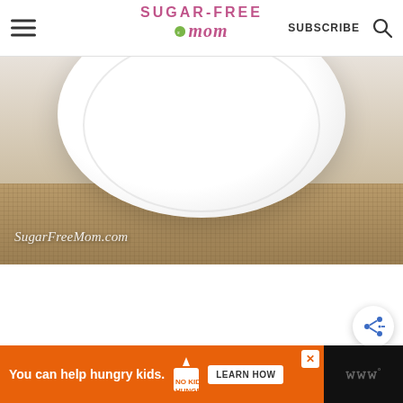Sugar-Free Mom - SUBSCRIBE
[Figure (photo): Close-up of a white plate on burlap fabric with watermark text 'SugarFreeMom.com']
[Figure (other): Share button icon (circular button with share/network icon in blue)]
Advertisement: You can help hungry kids. NO KID HUNGRY - LEARN HOW